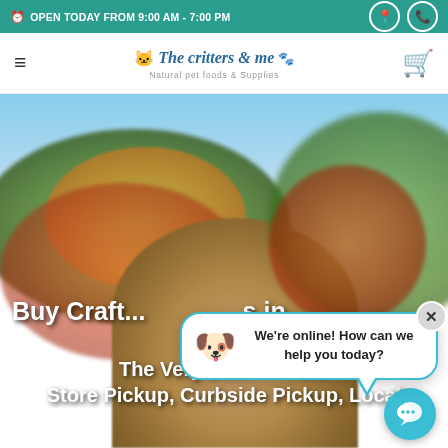OPEN TODAY FROM 9:00 AM - 7:00 PM
[Figure (logo): The critters & me Natural pet foods & Supplies logo with small cat/dog icons]
[Figure (photo): Outdoor autumn scene with colorful foliage and a dog in the foreground, blurred background]
Buy Craft... s in The Very Be... ats Store Pickup, Curbside Pickup, Local
We're online! How can we help you today?